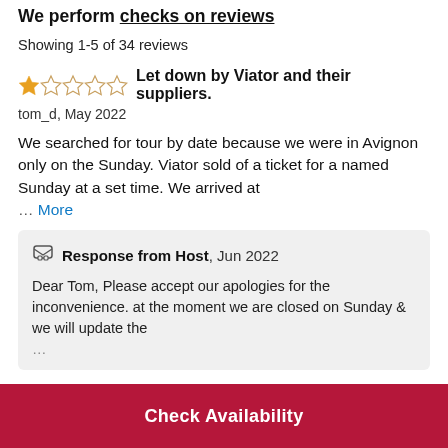We perform checks on reviews
Showing 1-5 of 34 reviews
Let down by Viator and their suppliers.
tom_d, May 2022
We searched for tour by date because we were in Avignon only on the Sunday. Viator sold of a ticket for a named Sunday at a set time. We arrived at … More
Response from Host, Jun 2022
Dear Tom, Please accept our apologies for the inconvenience. at the moment we are closed on Sunday & we will update the